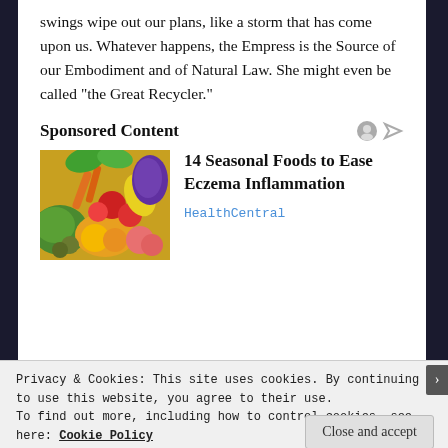swings wipe out our plans, like a storm that has come upon us. Whatever happens, the Empress is the Source of our Embodiment and of Natural Law. She might even be called “the Great Recycler.”
Sponsored Content
[Figure (photo): A colorful arrangement of fresh fruits and vegetables including tomatoes, oranges, kiwi, peppers, carrots, and greens]
14 Seasonal Foods to Ease Eczema Inflammation
HealthCentral
Privacy & Cookies: This site uses cookies. By continuing to use this website, you agree to their use.
To find out more, including how to control cookies, see here: Cookie Policy
Close and accept